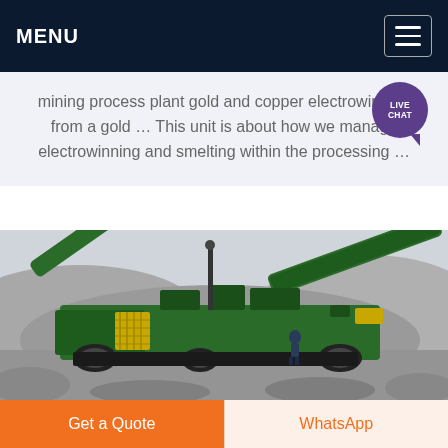MENU
mining process plant gold and copper electrowinning from a gold … This unit is about how we manage electrowinning and smelting within the processing …
[Figure (photo): Green mining crusher/screening machine operating outdoors surrounded by gravel/aggregate piles, with a worker visible near the machine.]
Get a Quote
WhatsApp